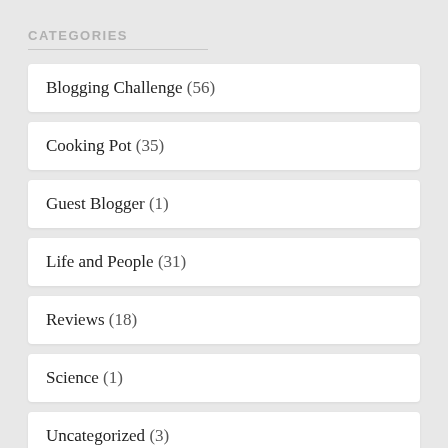CATEGORIES
Blogging Challenge (56)
Cooking Pot (35)
Guest Blogger (1)
Life and People (31)
Reviews (18)
Science (1)
Uncategorized (3)